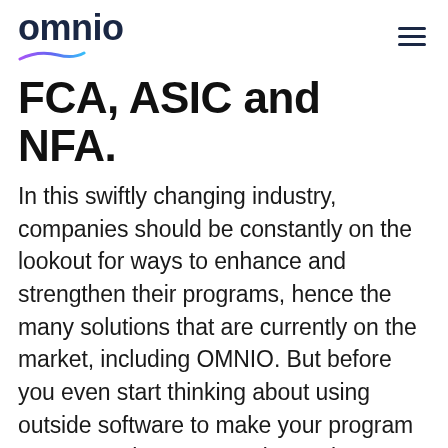omnio
FCA, ASIC and NFA.
In this swiftly changing industry, companies should be constantly on the lookout for ways to enhance and strengthen their programs, hence the many solutions that are currently on the market, including OMNIO. But before you even start thinking about using outside software to make your program more complex, you need to make sure you have the basics